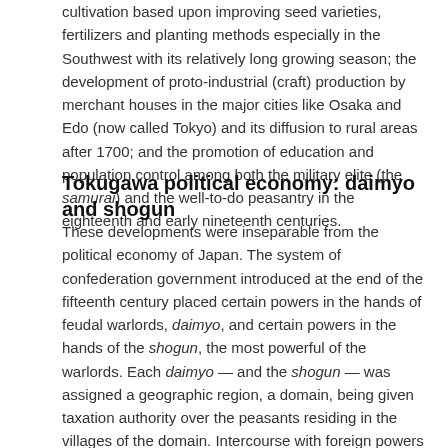cultivation based upon improving seed varieties, fertilizers and planting methods especially in the Southwest with its relatively long growing season; the development of proto-industrial (craft) production by merchant houses in the major cities like Osaka and Edo (now called Tokyo) and its diffusion to rural areas after 1700; and the promotion of education and population control among both the military elite (the samurai) and the well-to-do peasantry in the eighteenth and early nineteenth centuries.
Tokugawa political economy: daimyo and shogun
These developments were inseparable from the political economy of Japan. The system of confederation government introduced at the end of the fifteenth century placed certain powers in the hands of feudal warlords, daimyo, and certain powers in the hands of the shogun, the most powerful of the warlords. Each daimyo — and the shogun — was assigned a geographic region, a domain, being given taxation authority over the peasants residing in the villages of the domain. Intercourse with foreign powers was monopolized by the shogun, thereby preventing daimyo from cementing alliances with other countries in an effort to overthrow the central government. The samurai military retainers of the daimyo were forced to abandon rice farming and reside in the castle town headquarters of their daimyo overlord. In exchange,